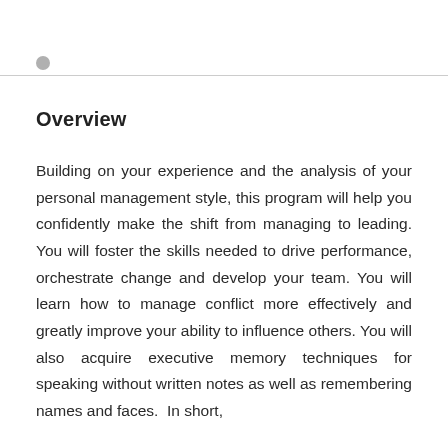Overview
Building on your experience and the analysis of your personal management style, this program will help you confidently make the shift from managing to leading. You will foster the skills needed to drive performance, orchestrate change and develop your team. You will learn how to manage conflict more effectively and greatly improve your ability to influence others. You will also acquire executive memory techniques for speaking without written notes as well as remembering names and faces.  In short,